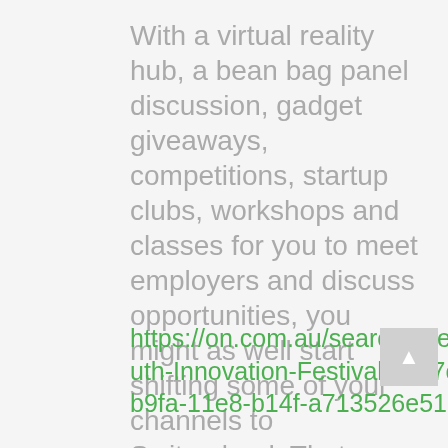With a virtual reality hub, a bean bag panel discussion, gadget giveaways, competitions, startup clubs, workshops and classes for you to meet employers and discuss opportunities, you might as well start shifting some of your channels to Switzerland. That future cocaine habit isn't going to hide itself, you hip young go-getter.
https://on.com.au/search/events/Youth-Innovation-Festival/2e97c120-b9fa-11e8-b14f-a713526e5192